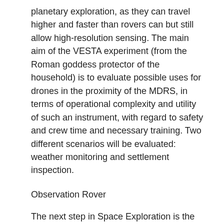planetary exploration, as they can travel higher and faster than rovers can but still allow high-resolution sensing. The main aim of the VESTA experiment (from the Roman goddess protector of the household) is to evaluate possible uses for drones in the proximity of the MDRS, in terms of operational complexity and utility of such an instrument, with regard to safety and crew time and necessary training. Two different scenarios will be evaluated: weather monitoring and settlement inspection.
Observation Rover
The next step in Space Exploration is the settlement on new bodies. In the future, the settlements reliance on Earth should be kept minimal relying on the compounds found naturally; in many cases, this can mean digging or mining this material. This project is the creation of a